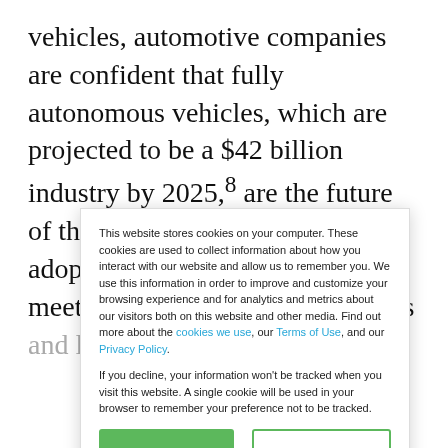vehicles, automotive companies are confident that fully autonomous vehicles, which are projected to be a $42 billion industry by 2025,8 are the future of the industry, so they are adopting strategies accordingly to meet changing consumer demands and lifestyles
This website stores cookies on your computer. These cookies are used to collect information about how you interact with our website and allow us to remember you. We use this information in order to improve and customize your browsing experience and for analytics and metrics about our visitors both on this website and other media. Find out more about the cookies we use, our Terms of Use, and our Privacy Policy.

If you decline, your information won't be tracked when you visit this website. A single cookie will be used in your browser to remember your preference not to be tracked.